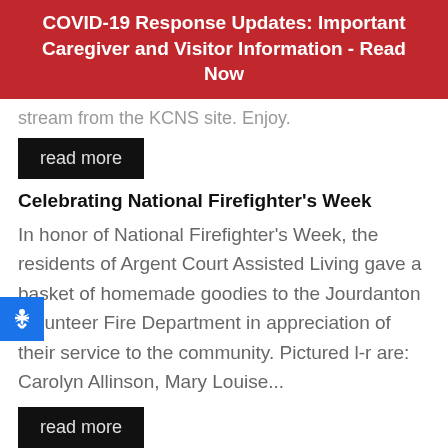COVID-19 Response Updates: Important Caregiver and Visitor Information - Read Now
stream from the KCNS site. Enjoy.
read more
Celebrating National Firefighter's Week
In honor of National Firefighter's Week, the residents of Argent Court Assisted Living gave a basket of homemade goodies to the Jourdanton Volunteer Fire Department in appreciation of their service to the community. Pictured l-r are: Carolyn Allinson, Mary Louise...
read more
Medicare and Long Term Care
I am always surprised at how many folks make the incorrect assumption that Medicare funds long term care...